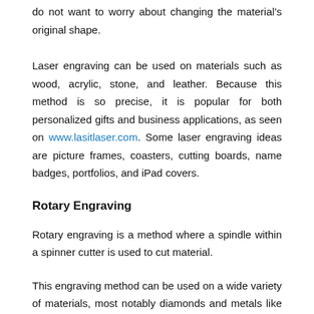do not want to worry about changing the material's original shape.
Laser engraving can be used on materials such as wood, acrylic, stone, and leather. Because this method is so precise, it is popular for both personalized gifts and business applications, as seen on www.lasitlaser.com. Some laser engraving ideas are picture frames, coasters, cutting boards, name badges, portfolios, and iPad covers.
Rotary Engraving
Rotary engraving is a method where a spindle within a spinner cutter is used to cut material.
This engraving method can be used on a wide variety of materials, most notably diamonds and metals like gold, silver, brass, copper, stainless steel, aluminum, and pewter.